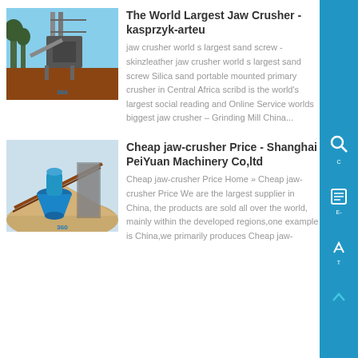[Figure (photo): Industrial jaw crusher machinery outdoors with steel structure and equipment]
The World Largest Jaw Crusher - kasprzyk-arteu
jaw crusher world s largest sand screw - skinzleather jaw crusher world s largest sand screw Silica sand portable mounted primary crusher in Central Africa scribd is the world's largest social reading and Online Service worlds biggest jaw crusher – Grinding Mill China...
[Figure (photo): Industrial cone crusher and conveyor equipment at a mining site]
Cheap jaw-crusher Price - Shanghai PeiYuan Machinery Co,ltd
Cheap jaw-crusher Price Home » Cheap jaw-crusher Price We are the largest supplier in China, the products are sold all over the world, mainly within the developed regions,one example is China,we primarily produces Cheap jaw-